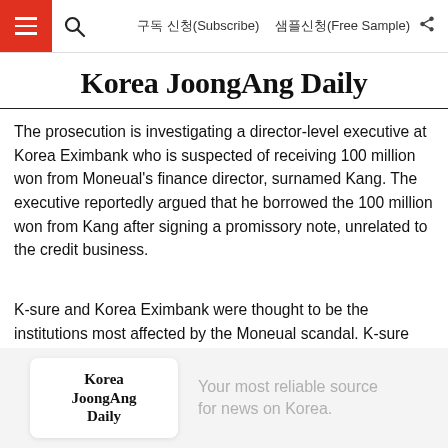구독 신청(Subscribe) 샘플신청(Free Sample)
Korea JoongAng Daily
The prosecution is investigating a director-level executive at Korea Eximbank who is suspected of receiving 100 million won from Moneual's finance director, surnamed Kang. The executive reportedly argued that he borrowed the 100 million won from Kang after signing a promissory note, unrelated to the credit business.
K-sure and Korea Eximbank were thought to be the institutions most affected by the Moneual scandal. K-sure reportedly guaranteed Moneual for 492.8 billion won.
[Figure (logo): Korea JoongAng Daily logo in a white rounded box with tagline 'Your most reliable source for news on Korea.']